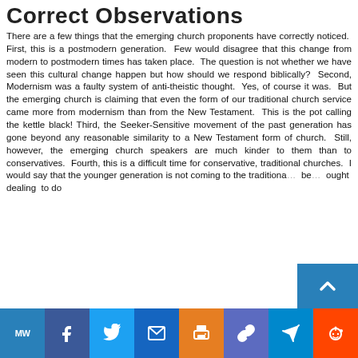Correct Observations
There are a few things that the emerging church proponents have correctly noticed. First, this is a postmodern generation. Few would disagree that this change from modern to postmodern times has taken place. The question is not whether we have seen this cultural change happen but how should we respond biblically? Second, Modernism was a faulty system of anti-theistic thought. Yes, of course it was. But the emerging church is claiming that even the form of our traditional church service came more from modernism than from the New Testament. This is the pot calling the kettle black! Third, the Seeker-Sensitive movement of the past generation has gone beyond any reasonable similarity to a New Testament form of church. Still, however, the emerging church speakers are much kinder to them than to conservatives. Fourth, this is a difficult time for conservative, traditional churches. I would say that the younger generation is not coming to the traditional churches because the parents ought dealing to do
[Figure (other): Social media sharing toolbar with icons: MW, Facebook, Twitter, Email, Print, Link, Telegram, Reddit, Share Plus. A blue scroll-to-top button with upward chevron is visible in the top-right area of the bar.]